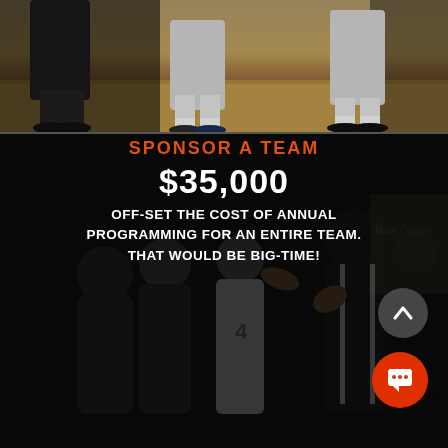[Figure (photo): Basketball players' legs and feet on a hardwood court, close-up from below waist]
[Figure (photo): Basketball team huddle with coach at what appears to be a Disney sports event, dark background]
SPONSOR A TEAM
$35,000
OFF-SET THE COST OF ANNUAL PROGRAMMING FOR AN ENTIRE TEAM. THAT WOULD BE BIG-TIME!